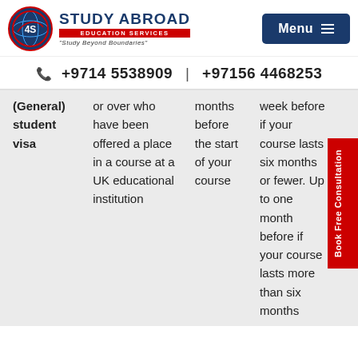[Figure (logo): Study Abroad Education Services logo with globe icon and tagline 'Study Beyond Boundaries']
+9714 5538909 | +97156 4468253
| (General) student visa | or over who have been offered a place in a course at a UK educational institution | months before the start of your course | week before if your course lasts six months or fewer. Up to one month before if your course lasts more than six months |